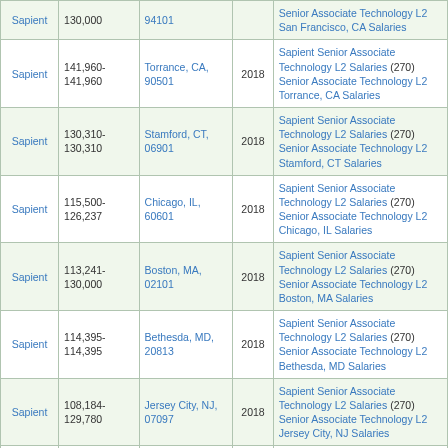| Company | Salary Range | Location | Year | Details |
| --- | --- | --- | --- | --- |
| Sapient | 130,000 | 94101 |  | Senior Associate Technology L2 San Francisco, CA Salaries |
| Sapient | 141,960-141,960 | Torrance, CA, 90501 | 2018 | Sapient Senior Associate Technology L2 Salaries (270) Senior Associate Technology L2 Torrance, CA Salaries |
| Sapient | 130,310-130,310 | Stamford, CT, 06901 | 2018 | Sapient Senior Associate Technology L2 Salaries (270) Senior Associate Technology L2 Stamford, CT Salaries |
| Sapient | 115,500-126,237 | Chicago, IL, 60601 | 2018 | Sapient Senior Associate Technology L2 Salaries (270) Senior Associate Technology L2 Chicago, IL Salaries |
| Sapient | 113,241-130,000 | Boston, MA, 02101 | 2018 | Sapient Senior Associate Technology L2 Salaries (270) Senior Associate Technology L2 Boston, MA Salaries |
| Sapient | 114,395-114,395 | Bethesda, MD, 20813 | 2018 | Sapient Senior Associate Technology L2 Salaries (270) Senior Associate Technology L2 Bethesda, MD Salaries |
| Sapient | 108,184-129,780 | Jersey City, NJ, 07097 | 2018 | Sapient Senior Associate Technology L2 Salaries (270) Senior Associate Technology L2 Jersey City, NJ Salaries |
| Sapient |  |  |  | Sapient Senior Associate |